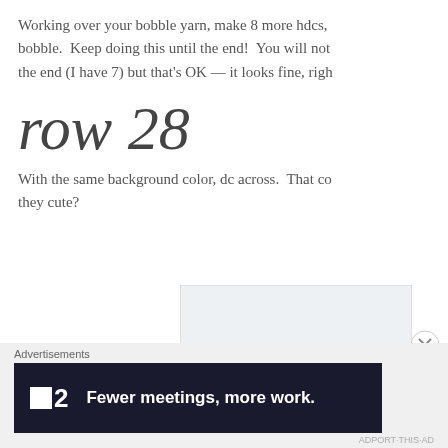Working over your bobble yarn, make 8 more hdcs, bobble.  Keep doing this until the end!  You will not the end (I have 7) but that's OK — it looks fine, righ
row 28
With the same background color, dc across.  That co they cute?
[Figure (photo): Partial photo of a crochet project, light colored fabric visible]
Advertisements
[Figure (screenshot): Advertisement banner: dark background with Fewer meetings, more work. logo and text]